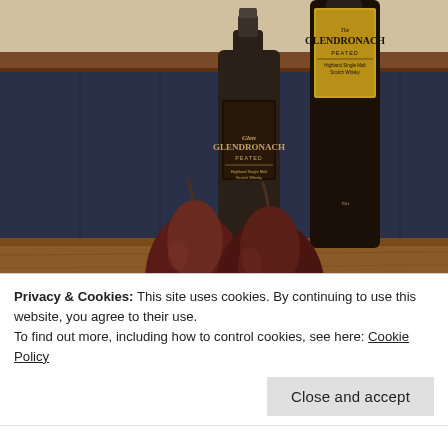[Figure (photo): Photo of two dark red pears on a wooden table/bar surface in front of two bottles of GlenDronach Peated Highland Single Malt Scotch Whisky. The background shows dark navy blue wooden paneling and a wooden shelf/frame above.]
Privacy & Cookies: This site uses cookies. By continuing to use this website, you agree to their use.
To find out more, including how to control cookies, see here: Cookie Policy
Close and accept